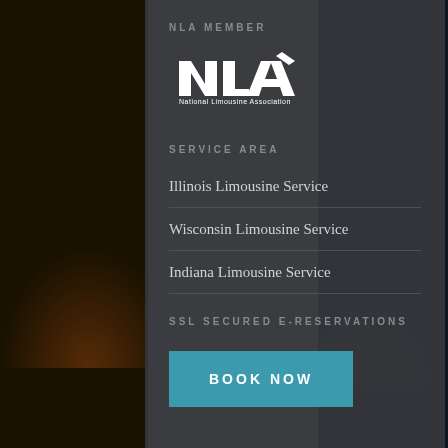NLA MEMBER
[Figure (logo): National Limousine Association (NLA) logo — white stylized letters NLA with 'National Limousine Association' text below]
SERVICE AREA
Illinois Limousine Service
Wisconsin Limousine Service
Indiana Limousine Service
SSL SECURED E-RESERVATIONS
BOOK NOW